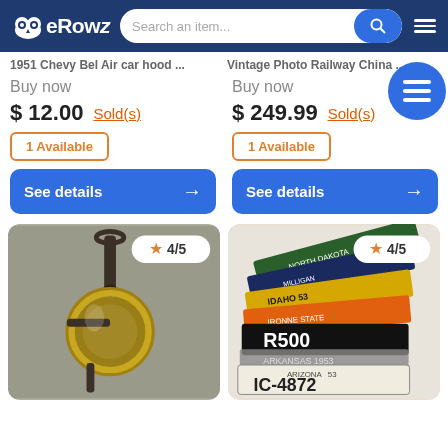[Figure (screenshot): eRowz marketplace app header with owl logo, search bar, and hamburger menu on dark blue background]
1951 Chevy Bel Air car hood ...   Vintage Photo Railway China...
Buy now
$ 12.00
Sold(s)
Buy now
$ 249.99
Sold(s)
1 Available
1 Available
See details
See details
[Figure (photo): Vintage brass carriage lamp/lantern with round glass face, black metal handle bracket, antique style]
[Figure (photo): Stack of vintage US state license plates including North Dakota, Idaho 53, Arizona IC-4872, R500 and others]